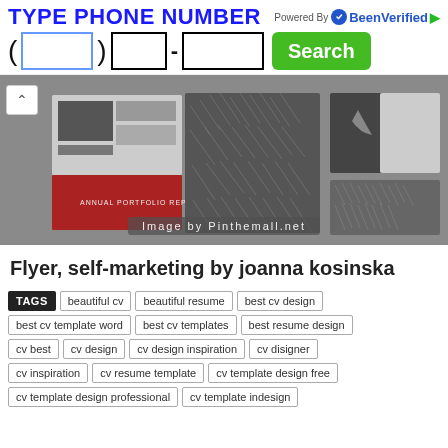[Figure (screenshot): Phone number search ad banner with BeenVerified branding, input fields for area code, prefix, and line number, and a green Search button]
[Figure (photo): Pinterest-style image showing design portfolio pieces including a red booklet, patterned papers, and cards on a gray surface. Caption reads 'Image by Pinthemall.net']
Flyer, self-marketing by joanna kosinska
TAGS  beautiful cv  beautiful resume  best cv design  best cv template word  best cv templates  best resume design  cv best  cv design  cv design inspiration  cv disigner  cv inspiration  cv resume template  cv template design free  cv template design professional  cv template indesign